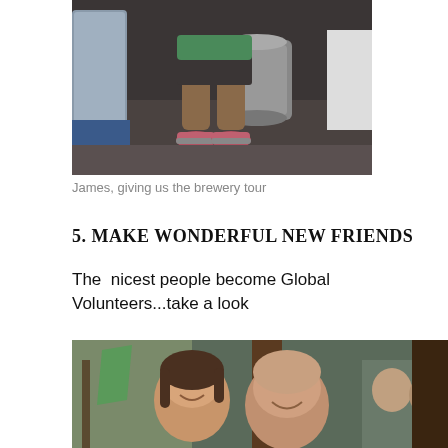[Figure (photo): Photo of a person from waist down wearing a green shirt, dark shorts, and pink/grey sneakers, standing in a brewery with metal tanks and kegs visible in the background.]
James, giving us the brewery tour
5.  MAKE WONDERFUL NEW FRIENDS
The  nicest people become Global Volunteers...take a look
[Figure (photo): Photo of two smiling people (a woman and a bald man) posing together outdoors at what appears to be a tropical setting with palm trees, with other people visible in the background.]